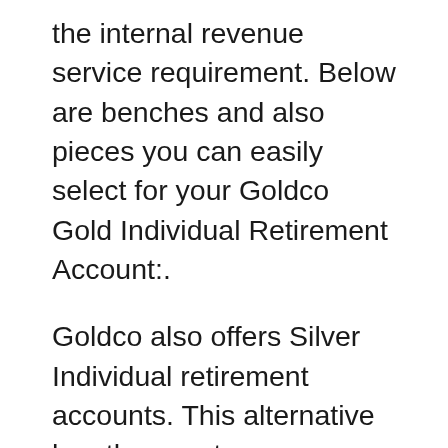the internal revenue service requirement. Below are benches and also pieces you can easily select for your Goldco Gold Individual Retirement Account:.
Goldco also offers Silver Individual retirement accounts. This alternative has the exact same benefits as Gold IRAs in regards to guarding your wealth as well as diversifying your profile. Silver is also a prominent metal that you must consider for your expenditure.
You can incorporate additional silver to your Priceless Metals IRA since the metal is more economical as matched up to gold. You can easily obtain more silver bars and coins for the exact same cost.